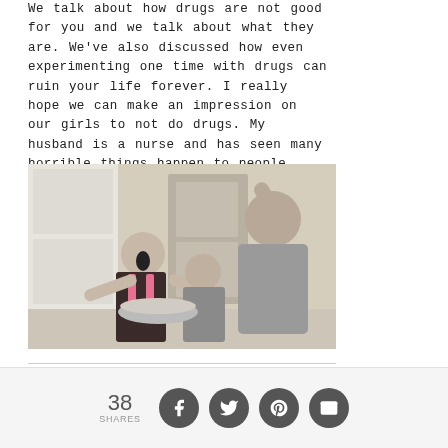We talk about how drugs are not good for you and we talk about what they are. We've also discussed how even experimenting one time with drugs can ruin your life forever. I really hope we can make an impression on our girls to not do drugs. My husband is a nurse and has seen many horrible things happen to people who've done drugs.
[Figure (photo): A woman and two young girls in a kitchen, appearing to be cooking or baking together. The older girl has her mouth open and arms raised, the younger girl looks down at the counter, and the woman stands behind them.]
38 SHARES